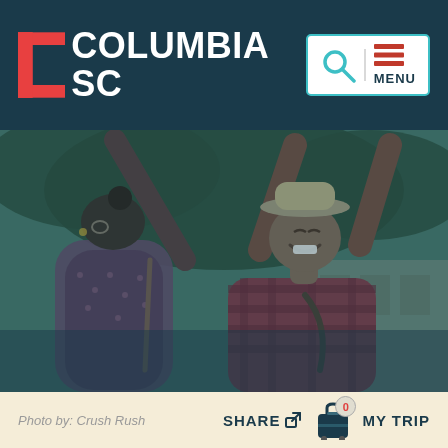[Figure (logo): Columbia SC logo with red C bracket and white text on dark navy header bar]
[Figure (other): Navigation icons: teal magnifying glass and red/navy hamburger menu lines with MENU text, on white rounded rectangle]
[Figure (photo): Two women dancing outdoors, one with back to camera in patterned top, one smiling in hat with arms raised, trees in background, teal overlay tint]
Photo by: Crush Rush
SHARE
0
MY TRIP